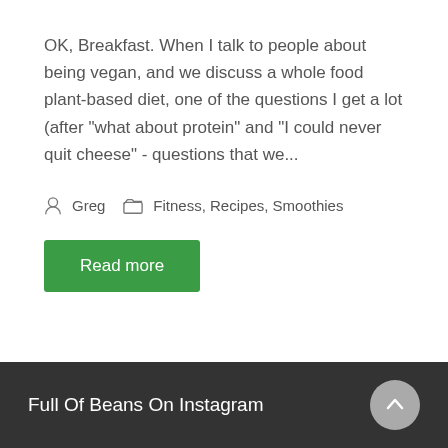OK, Breakfast. When I talk to people about being vegan, and we discuss a whole food plant-based diet, one of the questions I get a lot (after "what about protein" and "I could never quit cheese" - questions that we...
Greg   Fitness, Recipes, Smoothies
Read more
Full Of Beans On Instagram